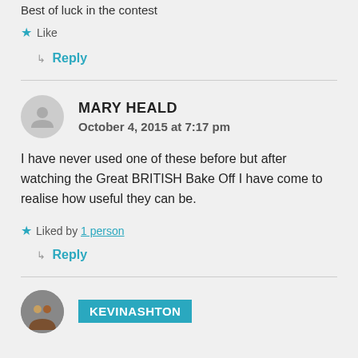Best of luck in the contest
★ Like
↳ Reply
MARY HEALD
October 4, 2015 at 7:17 pm
I have never used one of these before but after watching the Great BRITISH Bake Off I have come to realise how useful they can be.
★ Liked by 1 person
↳ Reply
KEVINASHTON